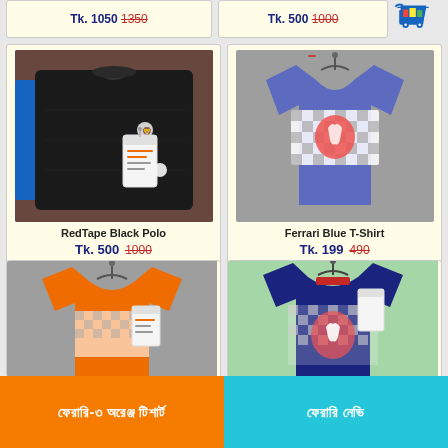Tk. 1050 1350
Tk. 500 1000
[Figure (photo): Black RedTape polo shirt folded with price tag, placed on blue fabric]
RedTape Black Polo
Tk. 500 1000
[Figure (photo): Blue Ferrari t-shirt with checkered pattern and horse logo, on a hanger]
Ferrari Blue T-Shirt
Tk. 199 490
[Figure (photo): Orange Ferrari t-shirt with checkered pattern on a hanger]
[Figure (photo): Dark navy Ferrari t-shirt with checkered pattern and horse logo]
ফেরারি-৩ অরেঞ্জ টিশার্ট
ফেরারি নেভি